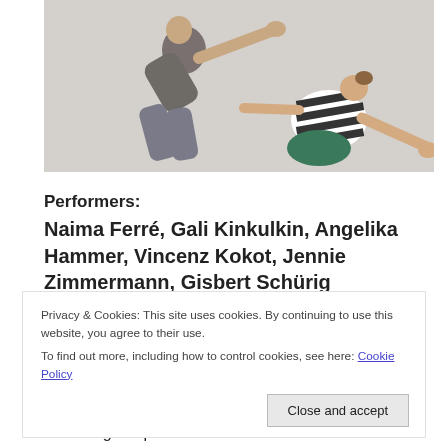[Figure (photo): Two dancers bending over each other against a light grey background. Left dancer in grey outfit bends forward with arm extended. Right dancer in black-and-white striped top crouches down with arm extended.]
Performers:
Naima Ferré, Gali Kinkulkin, Angelika Hammer, Vincenz Kokot, Jennie Zimmermann, Gisbert Schürig
Privacy & Cookies: This site uses cookies. By continuing to use this website, you agree to their use.
To find out more, including how to control cookies, see here: Cookie Policy
is a dance performing artist exploring sound and vocal art and the combination of physical theater and fire spinning
Following her passion for dance and voice work